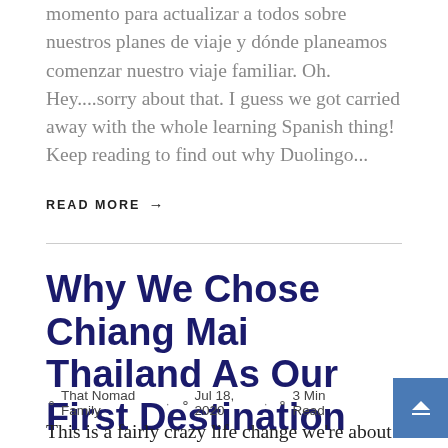momento para actualizar a todos sobre nuestros planes de viaje y dónde planeamos comenzar nuestro viaje familiar. Oh. Hey....sorry about that. I guess we got carried away with the whole learning Spanish thing! Keep reading to find out why Duolingo...
READ MORE →
Why We Chose Chiang Mai Thailand As Our First Destination
That Nomad Family · Jul 18, 2020 · 3 Min Read
This is a fairly crazy life change we're about